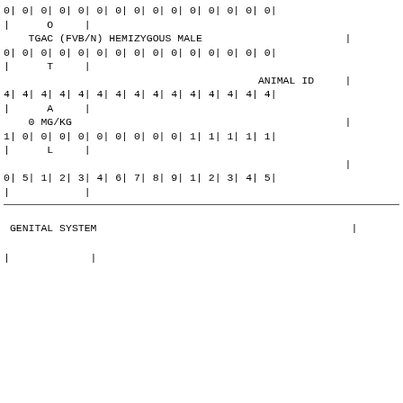| 0| | 0| | 0| | 0| | 0| | 0| | 0| | 0| | 0| | 0| | 0| | 0| | 0| | 0| | 0| |
| | | O | | |
| TGAC (FVB/N) HEMIZYGOUS MALE | | |
| 0| | 0| | 0| | 0| | 0| | 0| | 0| | 0| | 0| | 0| | 0| | 0| | 0| | 0| | 0| |
| | | T | | |
| ANIMAL ID | | |
| 4| | 4| | 4| | 4| | 4| | 4| | 4| | 4| | 4| | 4| | 4| | 4| | 4| | 4| | 4| |
| | | A | | |
| 0 MG/KG | | |
| 1| | 0| | 0| | 0| | 0| | 0| | 0| | 0| | 0| | 0| | 1| | 1| | 1| | 1| | 1| |
| | | L | | |
| | |
| 0| | 5| | 1| | 2| | 3| | 4| | 6| | 7| | 8| | 9| | 1| | 2| | 3| | 4| | 5| |
| | | | |
GENITAL SYSTEM
|              |